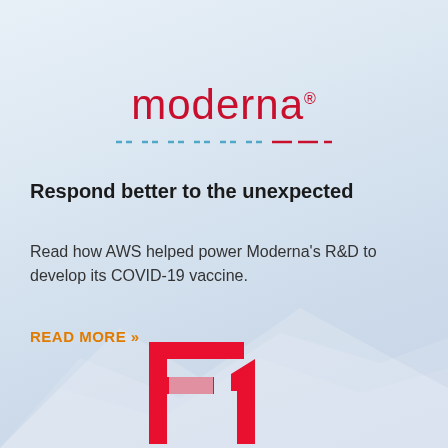[Figure (logo): Moderna logo in red with decorative dashed underline in blue and red, on a light blue-grey gradient background]
Respond better to the unexpected
Read how AWS helped power Moderna's R&D to develop its COVID-19 vaccine.
READ MORE »
[Figure (illustration): Abstract mountain silhouette shape in the lower portion of the image with a partial red F1 logo visible at the bottom center]